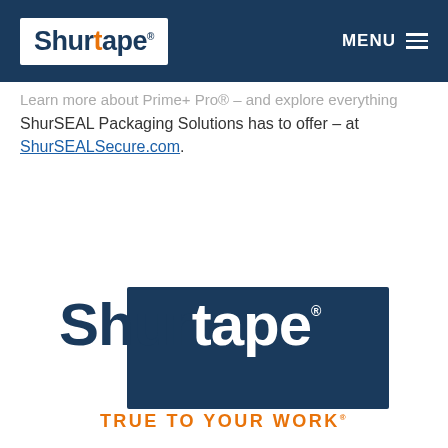Shurtape® | MENU
Learn more about Prime+ Pro® and explore everything ShurSEAL Packaging Solutions has to offer – at ShurSEALSecure.com.
[Figure (logo): Shurtape logo with navy rectangle background and 'TRUE TO YOUR WORK®' tagline in orange]